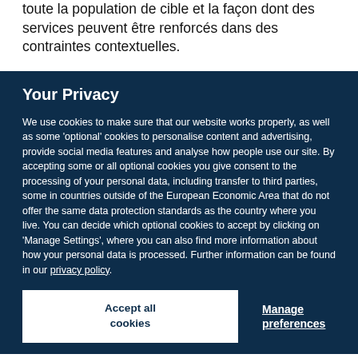toute la population de cible et la façon dont des services peuvent être renforcés dans des contraintes contextuelles.
Your Privacy
We use cookies to make sure that our website works properly, as well as some 'optional' cookies to personalise content and advertising, provide social media features and analyse how people use our site. By accepting some or all optional cookies you give consent to the processing of your personal data, including transfer to third parties, some in countries outside of the European Economic Area that do not offer the same data protection standards as the country where you live. You can decide which optional cookies to accept by clicking on 'Manage Settings', where you can also find more information about how your personal data is processed. Further information can be found in our privacy policy.
Accept all cookies
Manage preferences